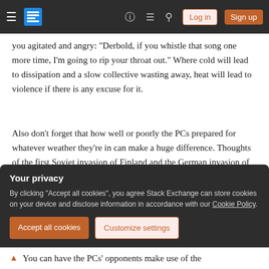Stack Exchange navigation bar with hamburger menu, logo, help, chat, search icons, Log in and Sign up buttons
you agitated and angry: "Derbold, if you whistle that song one more time, I'm going to rip your throat out." Where cold will lead to dissipation and a slow collective wasting away, heat will lead to violence if there is any excuse for it.
Also don't forget that how well or poorly the PCs prepared for whatever weather they're in can make a huge difference. Thoughts of the first Soviet invasion of Finland and the German invasion of Russia come to mind.
Your privacy
By clicking "Accept all cookies", you agree Stack Exchange can store cookies on your device and disclose information in accordance with our Cookie Policy.
Accept all cookies  Customize settings
You can have the PCs' opponents make use of the